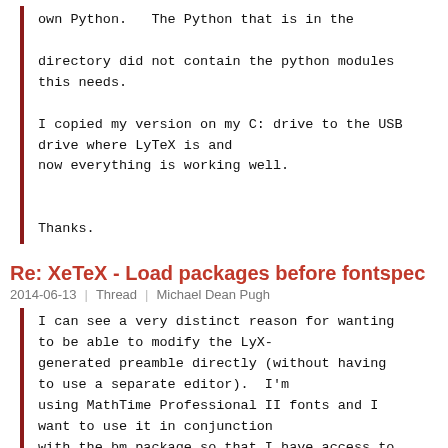own Python.   The Python that is in the directory did not contain the python modules this needs.

I copied my version on my C: drive to the USB drive where LyTeX is and
now everything is working well.

Thanks.
Re: XeTeX - Load packages before fontspec
2014-06-13  |  Thread  |  Michael Dean Pugh
I can see a very distinct reason for wanting to be able to modify the LyX-generated preamble directly (without having to use a separate editor).  I'm using MathTime Professional II fonts and I want to use it in conjunction with the bm package so that I have access to the bm versions of the \bm and